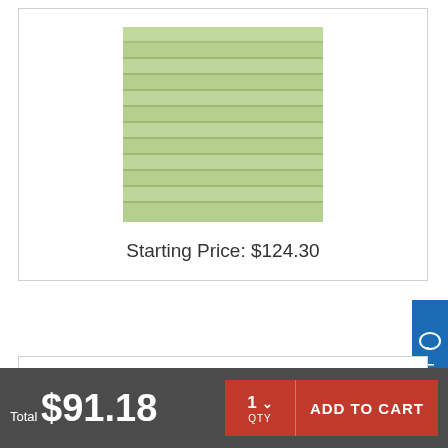[Figure (photo): Light green cellular/honeycomb window shade swatch with horizontal ribbed texture]
Starting Price: $124.30
Mink Single Cell Shades Cellular Shades from Levolor Blinds
Total $91.18
1 QTY
ADD TO CART